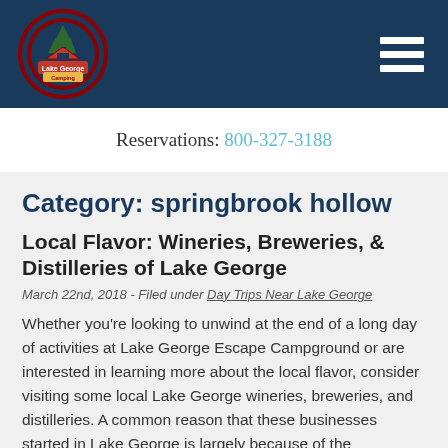Lake George Camping — Navigation header with logo and hamburger menu
Reservations: 800-327-3188
Category: springbrook hollow
Local Flavor: Wineries, Breweries, & Distilleries of Lake George
March 22nd, 2018 - Filed under Day Trips Near Lake George
Whether you're looking to unwind at the end of a long day of activities at Lake George Escape Campground or are interested in learning more about the local flavor, consider visiting some local Lake George wineries, breweries, and distilleries. A common reason that these businesses started in Lake George is largely because of the ingredients [...]